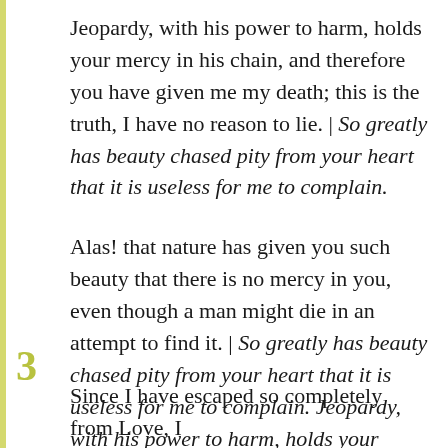Jeopardy, with his power to harm, holds your mercy in his chain, and therefore you have given me my death; this is the truth, I have no reason to lie. | So greatly has beauty chased pity from your heart that it is useless for me to complain.
Alas! that nature has given you such beauty that there is no mercy in you, even though a man might die in an attempt to find it. | So greatly has beauty chased pity from your heart that it is useless for me to complain. Jeopardy, with his power to harm, holds your mercy in his chain.
3
Since I have escaped so completely from Love, I